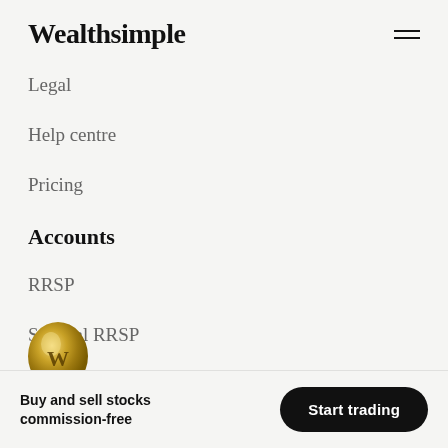Wealthsimple
Legal
Help centre
Pricing
Accounts
RRSP
Spousal RRSP
TFSA
[Figure (illustration): Gold coin with W logo (Wealthsimple coin) partially visible at bottom left]
Buy and sell stocks commission-free
Start trading